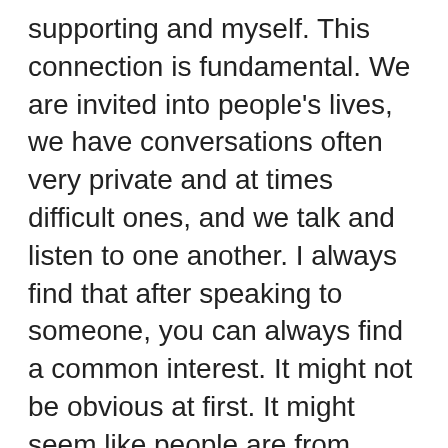supporting and myself. This connection is fundamental. We are invited into people's lives, we have conversations often very private and at times difficult ones, and we talk and listen to one another. I always find that after speaking to someone, you can always find a common interest. It might not be obvious at first. It might seem like people are from completely different backgrounds, with different views, but there is usually something that you share.
The sheer diversity of life is reflected in those I have supported. I've spoken to gardeners, garage owners, one gentleman was in the Arctic convoys during the Second World War and had been awarded a special medal by the Russian government, people of all different backgrounds, all with their own stories and experiences and speaking to them is enjoyable for me, they let me into their homes, and I spend time